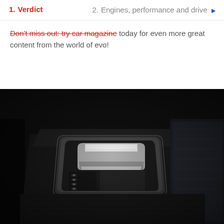1. Verdict   2. Engines, performance and drive
Don't miss out: try car magazine today for even more great content from the world of evo!
[Figure (photo): Close-up interior photo of a car's gear selector/shifter in a dark center console with chrome and black trim detailing]